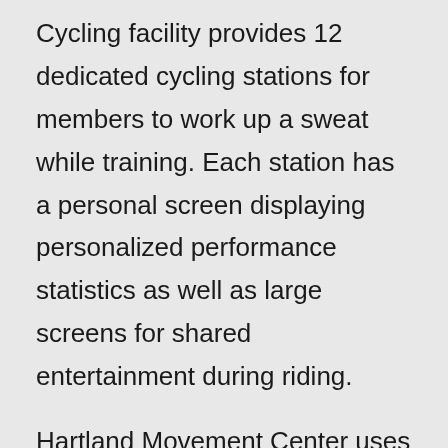Cycling facility provides 12 dedicated cycling stations for members to work up a sweat while training. Each station has a personal screen displaying personalized performance statistics as well as large screens for shared entertainment during riding.
Hartland Movement Center uses PERFPro and CompuTrainer software to provide our members with all the information they need, by emailing statistics that can be charted to keep progress.